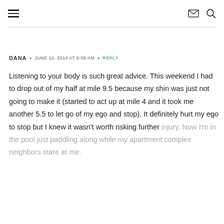≡  ✉ 🔍
DANA • JUNE 10, 2014 AT 6:08 AM • REPLY
Listening to your body is such great advice. This weekend I had to drop out of my half at mile 9.5 because my shin was just not going to make it (started to act up at mile 4 and it took me another 5.5 to let go of my ego and stop). It definitely hurt my ego to stop but I knew it wasn't worth risking further injury. Now I'm in the pool just paddling along while my apartment complex neighbors stare at me.